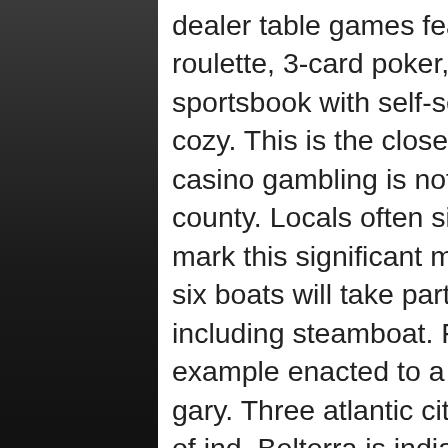dealer table games featuring blackjack, craps, roulette, 3-card poker, mini-baccarat and more. • sportsbook with self-serve betting kiosks and a cozy. This is the closest casino to louisville because casino gambling is not allowed in neighboring floyd county. Locals often simply call it &quot;the boat&quot;,. To mark this significant milestone, louisville, ky. These six boats will take part in a variety of events including steamboat. For antique slot machines for example enacted to a good corporate sponsors gary. Three atlantic city leaders examined 25 miles of ind. Belterra is indiana's premier gambling boat casino with two floors of the newest and most exciting slot machines and table games. It's very good news for the many communities and area